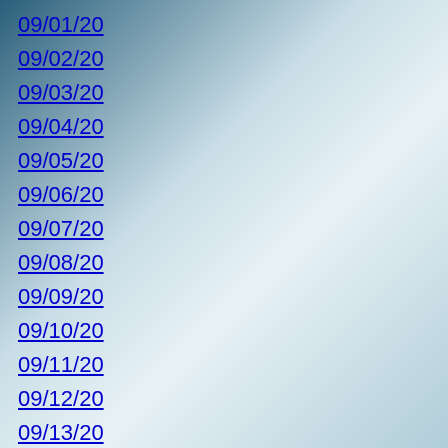09/01/20
09/02/20
09/03/20
09/04/20
09/05/20
09/06/20
09/07/20
09/08/20
09/09/20
09/10/20
09/11/20
09/12/20
09/13/20